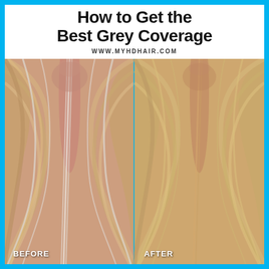How to Get the Best Grey Coverage
WWW.MYHDHAIR.COM
[Figure (photo): Before and after side-by-side close-up photos of a woman's hair part showing grey coverage results. Left side shows 'BEFORE' with visible grey roots at the part. Right side shows 'AFTER' with grey covered and more uniform blonde color. Both images show a top-down view of the scalp and hair parting.]
BEFORE
AFTER